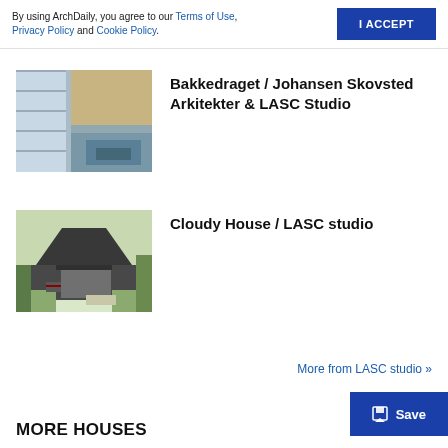By using ArchDaily, you agree to our Terms of Use, Privacy Policy and Cookie Policy.
I ACCEPT
[Figure (photo): Interior architectural photo showing a room with large windows, wooden paneling, and built-in blue furniture]
Bakkedraget / Johansen Skovsted Arkitekter & LASC Studio
[Figure (photo): Exterior photo of a dark grey house with a pitched roof surrounded by trees and greenery]
Cloudy House / LASC studio
More from LASC studio »
Save
MORE HOUSES